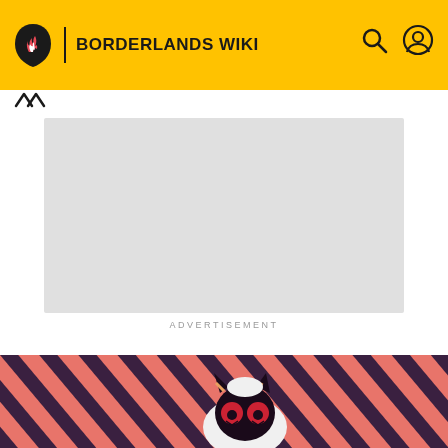BORDERLANDS WIKI
[Figure (other): Advertisement placeholder (gray rectangle)]
ADVERTISEMENT
BORDERLANDS WIKI
Baron Flynt
[Figure (illustration): Baron Flynt character illustration with red and dark diagonal stripe background, cartoon monster creature with red eyes, horns, and white fluffy collar]